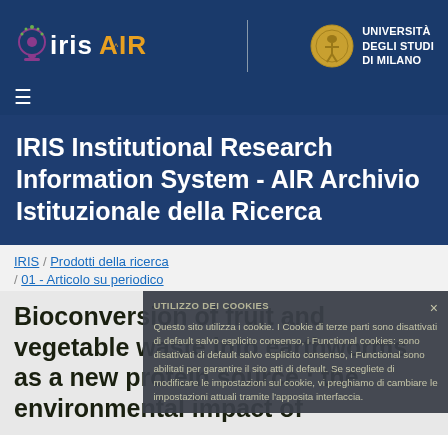[Figure (logo): IRIS AIR logo and Università degli Studi di Milano logo in dark blue header bar]
IRIS Institutional Research Information System - AIR Archivio Istituzionale della Ricerca
IRIS / Prodotti della ricerca / 01 - Articolo su periodico
[Figure (screenshot): Cookie consent popup overlay: UTILIZZO DEI COOKIES - Questo sito utilizza i cookie. I Cookie di terze parti sono disattivati di default salvo esplicito consenso, i Functional cookies: sono disattivati di default salvo esplicito consenso, i Functional cookies: sono abilitati per garantire il sito atti di default. Se scegliete di modificare le impostazioni sul cookie, vi preghiamo di cambiare le impostazioni attuali tramite l'apposita interfaccia.]
Bioconversion of fruit and vegetable waste into earthworms as a new protein source : the environmental impact of